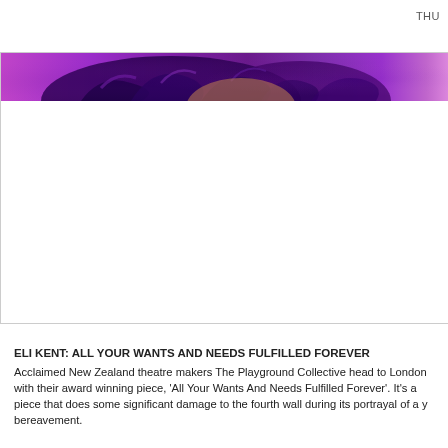THU
[Figure (photo): A person with purple/violet hair against a purple background. Only the top of the head is visible in a horizontal banner strip at the top of an image container. The rest of the image area is white/blank.]
ELI KENT: ALL YOUR WANTS AND NEEDS FULFILLED FOREVER
Acclaimed New Zealand theatre makers The Playground Collective head to London with their award winning piece, 'All Your Wants And Needs Fulfilled Forever'. It's a piece that does some significant damage to the fourth wall during its portrayal of a y bereavement.